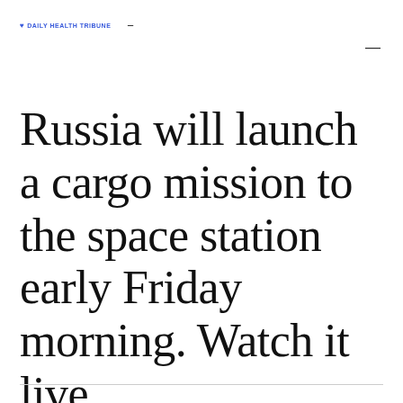DAILY HEALTH TRIBUNE
Russia will launch a cargo mission to the space station early Friday morning. Watch it live